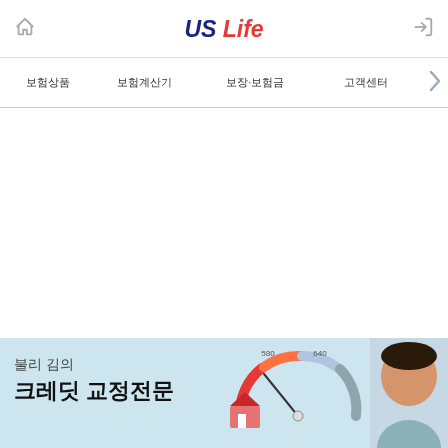US Life — navigation header with home and login icons
보험상품 | 보험계산기 | 보장·보험금 | 고객센터
[Figure (screenshot): Empty white main content area]
[Figure (infographic): Bottom banner advertisement for 불리 김의 크레디트 교정전문 (Julie Kim's credit repair specialist) with credit score meter showing 580 and 640 markers, a house illustration, and a person's face on the right side]